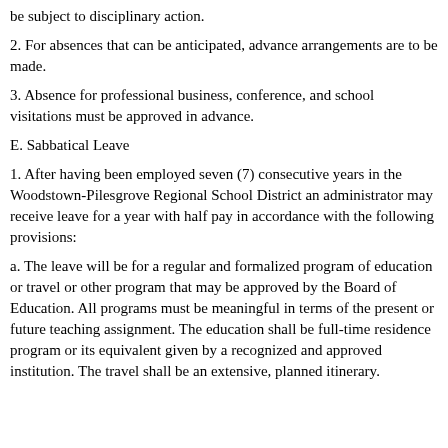be subject to disciplinary action.
2. For absences that can be anticipated, advance arrangements are to be made.
3. Absence for professional business, conference, and school visitations must be approved in advance.
E. Sabbatical Leave
1. After having been employed seven (7) consecutive years in the Woodstown-Pilesgrove Regional School District an administrator may receive leave for a year with half pay in accordance with the following provisions:
a. The leave will be for a regular and formalized program of education or travel or other program that may be approved by the Board of Education. All programs must be meaningful in terms of the present or future teaching assignment. The education shall be full-time residence program or its equivalent given by a recognized and approved institution. The travel shall be an extensive, planned itinerary.